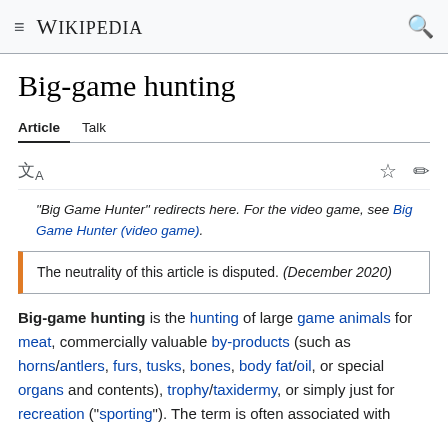Wikipedia
Big-game hunting
Article  Talk
"Big Game Hunter" redirects here. For the video game, see Big Game Hunter (video game).
The neutrality of this article is disputed. (December 2020)
Big-game hunting is the hunting of large game animals for meat, commercially valuable by-products (such as horns/antlers, furs, tusks, bones, body fat/oil, or special organs and contents), trophy/taxidermy, or simply just for recreation ("sporting"). The term is often associated with